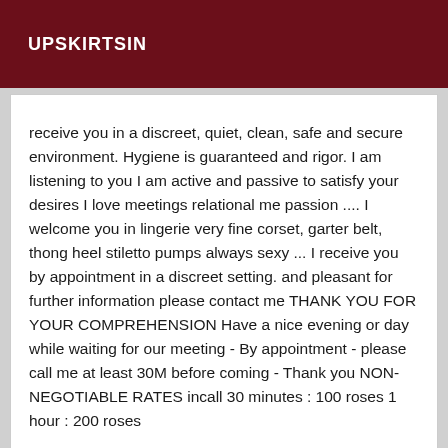UPSKIRTSIN
receive you in a discreet, quiet, clean, safe and secure environment. Hygiene is guaranteed and rigor. I am listening to you I am active and passive to satisfy your desires I love meetings relational me passion .... I welcome you in lingerie very fine corset, garter belt, thong heel stiletto pumps always sexy ... I receive you by appointment in a discreet setting. and pleasant for further information please contact me THANK YOU FOR YOUR COMPREHENSION Have a nice evening or day while waiting for our meeting - By appointment - please call me at least 30M before coming - Thank you NON-NEGOTIABLE RATES incall 30 minutes : 100 roses 1 hour : 200 roses
[Figure (other): Empty white box below main text content]